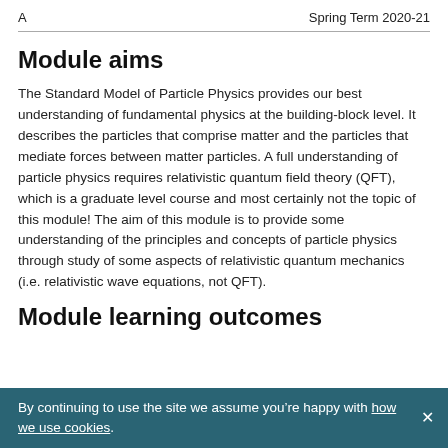A    Spring Term 2020-21
Module aims
The Standard Model of Particle Physics provides our best understanding of fundamental physics at the building-block level. It describes the particles that comprise matter and the particles that mediate forces between matter particles. A full understanding of particle physics requires relativistic quantum field theory (QFT), which is a graduate level course and most certainly not the topic of this module! The aim of this module is to provide some understanding of the principles and concepts of particle physics through study of some aspects of relativistic quantum mechanics (i.e. relativistic wave equations, not QFT).
Module learning outcomes
By continuing to use the site we assume you’re happy with how we use cookies.